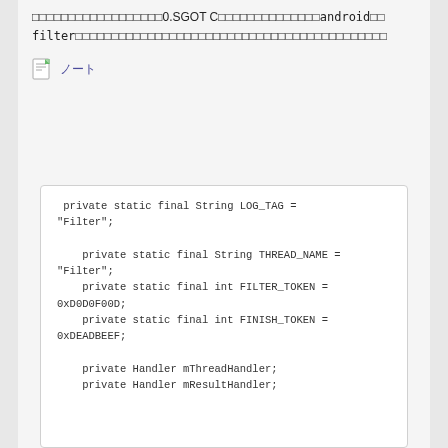0.SGOT C android filter
[Figure (other): Note icon with Japanese text link (ノート)]
private static final String LOG_TAG = "Filter";

    private static final String THREAD_NAME = "Filter";
    private static final int FILTER_TOKEN = 0xD0D0F00D;
    private static final int FINISH_TOKEN = 0xDEADBEEF;

    private Handler mThreadHandler;
    private Handler mResultHandler;